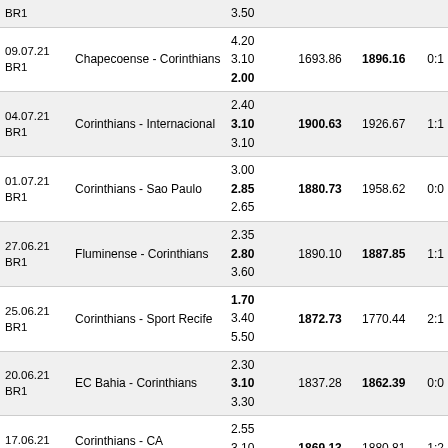| Date/League | Match | Odds | R1 | R2 | Score |
| --- | --- | --- | --- | --- | --- |
| BR1 |  | 3.50 |  |  |  |
| 09.07.21 BR1 | Chapecoense - Corinthians | 4.20 / 3.10 / 2.00 | 1693.86 | 1896.16 | 0:1 |
| 04.07.21 BR1 | Corinthians - Internacional | 2.40 / 3.10 / 3.10 | 1900.63 | 1926.67 | 1:1 |
| 01.07.21 BR1 | Corinthians - Sao Paulo | 3.00 / 2.85 / 2.65 | 1880.73 | 1958.62 | 0:0 |
| 27.06.21 BR1 | Fluminense - Corinthians | 2.35 / 2.80 / 3.60 | 1890.10 | 1887.85 | 1:1 |
| 25.06.21 BR1 | Corinthians - Sport Recife | 1.70 / 3.40 / 5.50 | 1872.73 | 1770.44 | 2:1 |
| 20.06.21 BR1 | EC Bahia - Corinthians | 2.30 / 3.10 / 3.30 | 1837.28 | 1862.39 | 0:0 |
| 17.06.21 BR1 | Corinthians - CA Bragantino | 2.55 / 3.10 / 2.90 | 1869.13 | 1880.81 | 1:2 |
| 13.06.21 BR1 | Palmeiras - Corinthians | 1.85 / 3.50 / 4.33 | 1986.92 | 1865.58 | 1:1 |
| 10.06.21 BRCUP | Atletico GO - Corinthians | 2.80 / 3.10 / 2.40 | 1778.15 | 1848.34 | 0:0 |